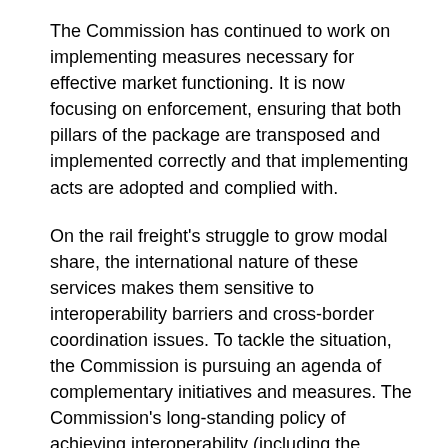The Commission has continued to work on implementing measures necessary for effective market functioning. It is now focusing on enforcement, ensuring that both pillars of the package are transposed and implemented correctly and that implementing acts are adopted and complied with.
On the rail freight's struggle to grow modal share, the international nature of these services makes them sensitive to interoperability barriers and cross-border coordination issues. To tackle the situation, the Commission is pursuing an agenda of complementary initiatives and measures. The Commission's long-standing policy of achieving interoperability (including the efficient and coordinated deployment of ERTMS) has been strengthened recently, with the focus on solving practical cross-border operational issues.
The Commission's infrastructure development policy in